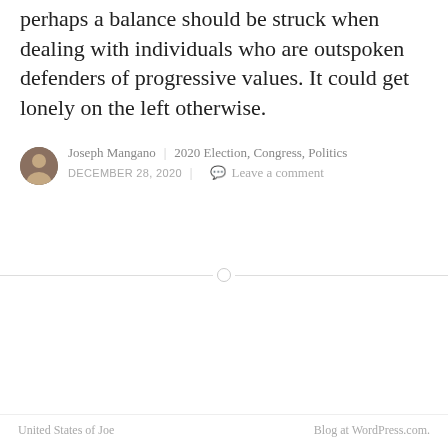perhaps a balance should be struck when dealing with individuals who are outspoken defenders of progressive values. It could get lonely on the left otherwise.
Joseph Mangano | 2020 Election, Congress, Politics
DECEMBER 28, 2020 | Leave a comment
United States of Joe    Blog at WordPress.com.